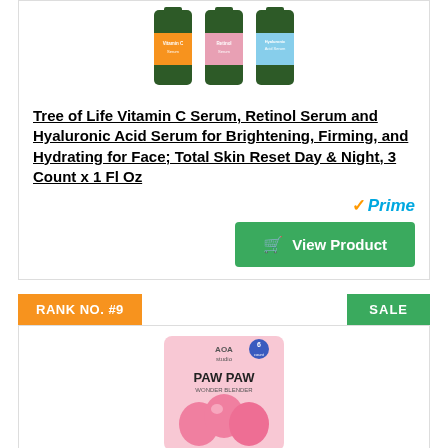[Figure (photo): Three Tree of Life serum bottles: Vitamin C Serum, Retinol Serum, and Hyaluronic Acid Serum with orange, pink, and blue labels respectively]
Tree of Life Vitamin C Serum, Retinol Serum and Hyaluronic Acid Serum for Brightening, Firming, and Hydrating for Face; Total Skin Reset Day & Night, 3 Count x 1 Fl Oz
[Figure (logo): Amazon Prime logo with orange checkmark and blue Prime text]
View Product
RANK NO. #9
SALE
[Figure (photo): AOA Studio Paw Paw Wonder Blender pink makeup sponge blenders set of 6 in pink packaging]